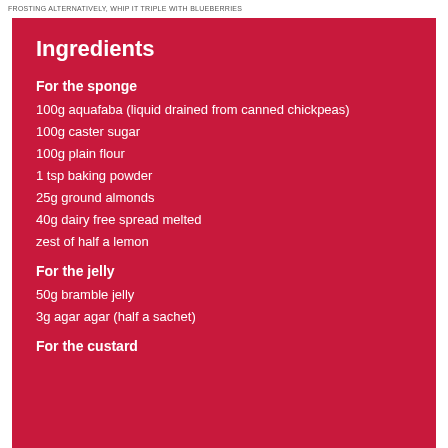FROSTING ALTERNATIVELY, WHIP IT TRIPLE WITH BLUEBERRIES
Ingredients
For the sponge
100g aquafaba (liquid drained from canned chickpeas)
100g caster sugar
100g plain flour
1 tsp baking powder
25g ground almonds
40g dairy free spread melted
zest of half a lemon
For the jelly
50g bramble jelly
3g agar agar (half a sachet)
For the custard